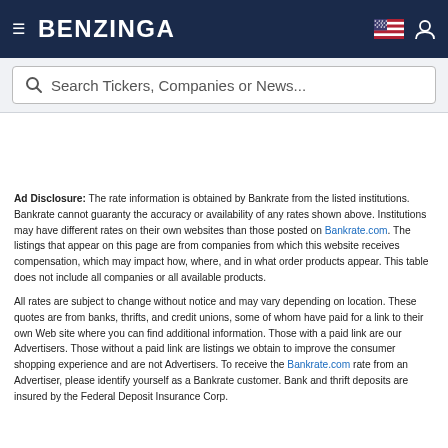BENZINGA
Search Tickers, Companies or News...
Ad Disclosure: The rate information is obtained by Bankrate from the listed institutions. Bankrate cannot guaranty the accuracy or availability of any rates shown above. Institutions may have different rates on their own websites than those posted on Bankrate.com. The listings that appear on this page are from companies from which this website receives compensation, which may impact how, where, and in what order products appear. This table does not include all companies or all available products.
All rates are subject to change without notice and may vary depending on location. These quotes are from banks, thrifts, and credit unions, some of whom have paid for a link to their own Web site where you can find additional information. Those with a paid link are our Advertisers. Those without a paid link are listings we obtain to improve the consumer shopping experience and are not Advertisers. To receive the Bankrate.com rate from an Advertiser, please identify yourself as a Bankrate customer. Bank and thrift deposits are insured by the Federal Deposit Insurance Corp.